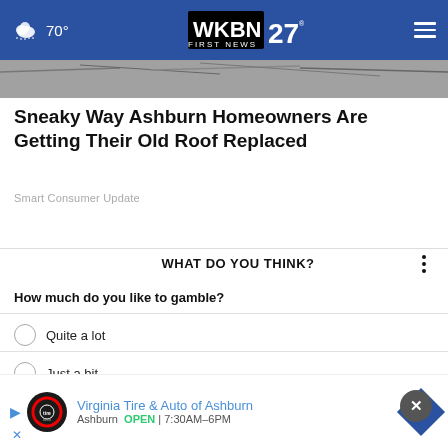70° WKBN 27 FIRST NEWS
[Figure (photo): Partial view of an old roof with cracked shingles]
Sneaky Way Ashburn Homeowners Are Getting Their Old Roof Replaced
Smart Consumer Update
WHAT DO YOU THINK?
How much do you like to gamble?
Quite a lot
Just a bit
Not at all
[Figure (screenshot): Advertisement: Virginia Tire & Auto of Ashburn - Ashburn OPEN 7:30AM-6PM]